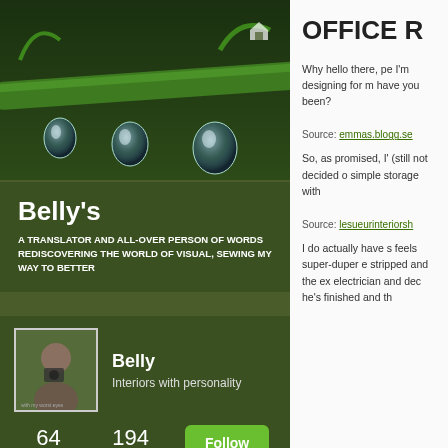[Figure (photo): Close-up macro photo of a green plant stem with water droplets hanging beneath it, on a dark green background.]
Belly's
A TRANSLATOR AND ALL-OVER PERSON OF WORDS REDISCOVERING THE WORLD OF VISUAL, SEWING MY WAY TO BETTER
[Figure (photo): Small profile avatar photo of a person holding a camera, dark background.]
Belly
Interiors with personality
64
FOLLOWING
194
FOLLOWERS
Follow
OFFICE R
Why hello there, pe I'm designing for m have you been?
Source: emmas.blogg.se
So, as promised, I' (still not decided o simple storage with
Source: lesueurinteriorsh
I do actually have s feels super-duper e stripped and the ex electrician and dec he's finished and th